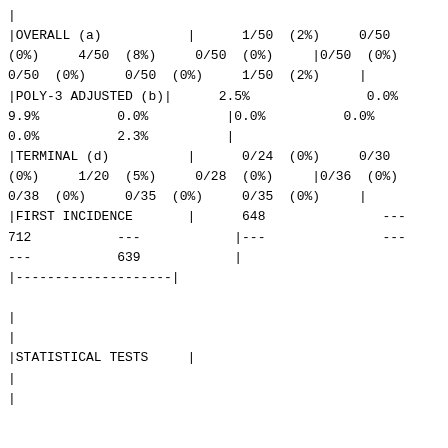| | |
| |OVERALL (a) | | | 1/50 (2%) | 0/50 (0%) | 4/50 (8%) | 0/50 (0%) | |0/50 (0%) | 0/50 (0%) | 0/50 (0%) | 1/50 (2%) | | |
| |POLY-3 ADJUSTED (b)| | 2.5% | 0.0% | 9.9% | 0.0% | |0.0% | 0.0% | 0.0% | 2.3% | | |
| |TERMINAL (d) | | | 0/24 (0%) | 0/30 (0%) | 1/20 (5%) | 0/28 (0%) | |0/36 (0%) | 0/38 (0%) | 0/35 (0%) | 0/35 (0%) | | |
| |FIRST INCIDENCE | | | 648 | --- | 712 | --- | |--- | --- | --- | 639 | | |
| |--------------------| |
| | |
| | |
| |STATISTICAL TESTS | | |
| | |
| | |